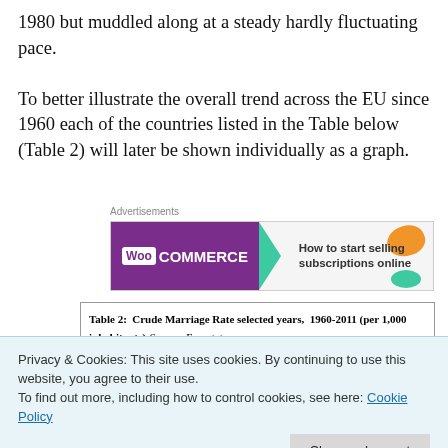1980 but muddled along at a steady hardly fluctuating pace.
To better illustrate the overall trend across the EU since 1960 each of the countries listed in the Table below (Table 2) will later be shown individually as a graph.
[Figure (screenshot): WooCommerce advertisement banner — 'How to start selling subscriptions online']
Advertisements
| Table 2: Crude Marriage Rate selected years, 1960-2011 (per 1,000 inhabitants) | Source: Eurostat |
Privacy & Cookies: This site uses cookies. By continuing to use this website, you agree to their use. To find out more, including how to control cookies, see here: Cookie Policy
| Italy |  |  |  |  |  |  |  |  |
| Portugal | 7.8 | 7.9 | 7.9 | 7.6 | 4.8 | 4.9 | 4.7 | 4.7 |